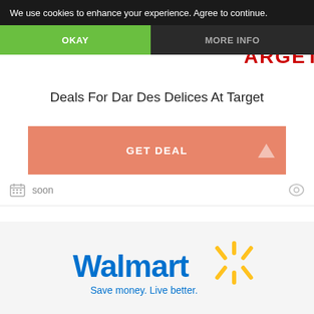We use cookies to enhance your experience. Agree to continue.
OKAY
MORE INFO
[Figure (logo): Target logo partially visible in top right corner — red bullseye circle above red TARGET text]
Deals For Dar Des Delices At Target
GET DEAL
soon
[Figure (logo): Walmart logo with blue Walmart text, yellow spark/asterisk icon, and tagline Save money. Live better. in blue]